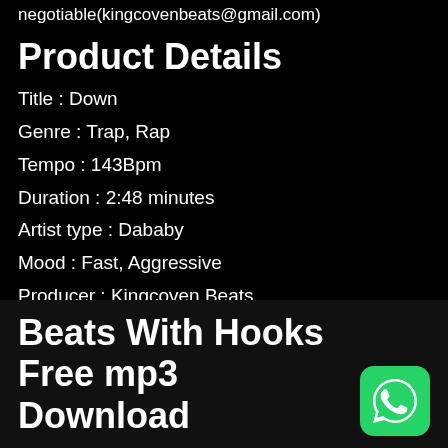negotiable(kingcovenbeats@gmail.com)
Product Details
Title : Down
Genre : Trap, Rap
Tempo : 143Bpm
Duration : 2:48 minutes
Artist type : Dababy
Mood : Fast, Aggressive
Producer : Kingcoven Beats
Beats With Hooks Free mp3 Download
[Figure (logo): WhatsApp logo icon, green rounded square with white phone handset symbol]